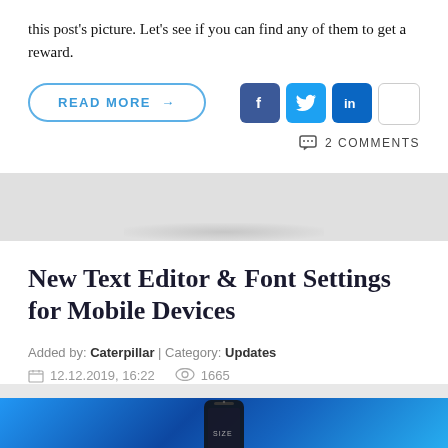this post's picture. Let's see if you can find any of them to get a reward.
READ MORE →
2 COMMENTS
New Text Editor & Font Settings for Mobile Devices
Added by: Caterpillar | Category: Updates
12.12.2019, 16:22   1665
[Figure (photo): Blue-toned image of a mobile phone on a blue background]